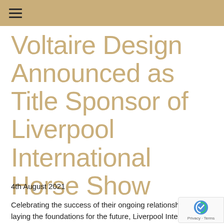☰
Voltaire Design Announced as Title Sponsor of Liverpool International Horse Show
4th August 2021
Celebrating the success of their ongoing relationship and laying the foundations for the future, Liverpool International Horse